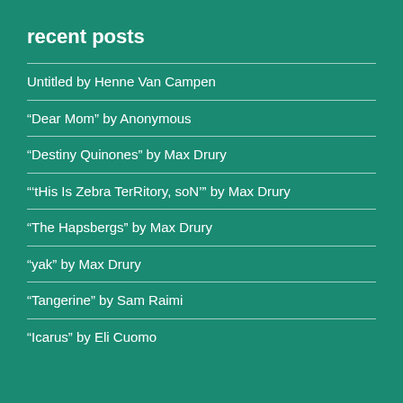recent posts
Untitled by Henne Van Campen
“Dear Mom” by Anonymous
“Destiny Quinones” by Max Drury
“’tHis Is Zebra TerRitory, soN’” by Max Drury
“The Hapsbergs” by Max Drury
“yak” by Max Drury
“Tangerine” by Sam Raimi
“Icarus” by Eli Cuomo